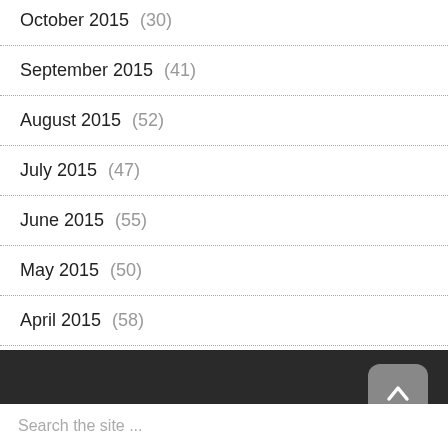October 2015 (30)
September 2015 (41)
August 2015 (52)
July 2015 (47)
June 2015 (55)
May 2015 (50)
April 2015 (58)
March 2015 (22)
Search the site ...